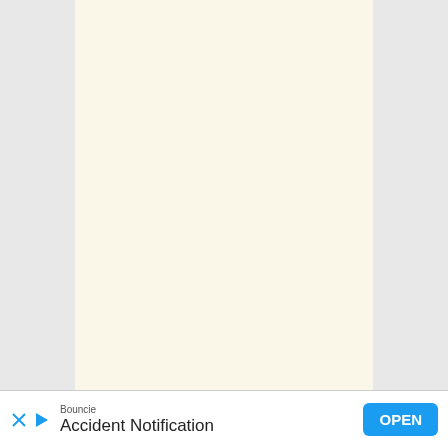[Figure (other): Blank cream/off-white document page area with light yellowish background]
Bouncie
Accident Notification
OPEN